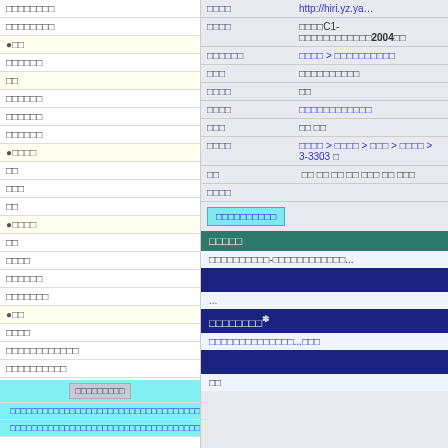□□□□□□□□
□□□□□□□□
●□□
□□□□□□
□□
□□□□□□
□□□□□□
□□□□□□
●□□□□
□□
□□□
□□
●□□□□
□□
□□□□
□□□□□□
□□□□□□□
●□□
□□□□
□□□□□□□□□□□□
□□□□□□□□□□
| □□□□ |  |
| --- | --- |
| □□□□ | http://hiri.yz.ya… |
| □□□□ | □□□□C1-□□□□□□□□□□□□2004□□ |
| □□□□□□ | □□□□ > □□□□□□□□□□ |
| □□□ | □□□□□□□□□□ |
| □□□□ | □□ |
| □□□□ | □□□□□□□□□□□□ |
| □□□ | □□ □□ |
| □□□□ | □□□□ > □□□□ > □□□ > □□□□ > 3-3303 □ |
| □□ | □□ □□ □□ □□ □□□ □□ □□□ |
| □□□□ |  |
□□□□□□□□□□
□□□□□
□□□□□□□□□□-□□□□□□□□□□□□...
...
□□□□□□□□✽
□□□□□□□□□□□□□□...□□□
□□